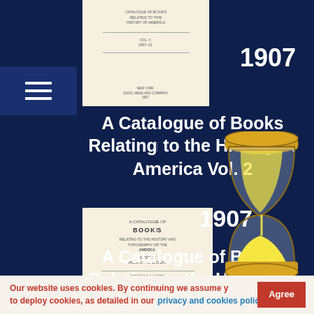[Figure (illustration): Cream/beige colored book cover thumbnail at top, partially visible]
[Figure (illustration): Hamburger/menu icon with three horizontal white lines on dark blue background]
1907
A Catalogue of Books Relating to the History of America Vol. 2
[Figure (illustration): Full cream/beige book cover for A Catalogue of Books relating to the History of America Vol. 2, 1907]
1907
A Catalogue of Books Relating to the History of America Vol. 3
[Figure (illustration): Hourglass emoji/icon in yellow and brown colors]
Our website uses cookies. By continuing we assume you agree on to deploy cookies, as detailed in our privacy and cookies policy.